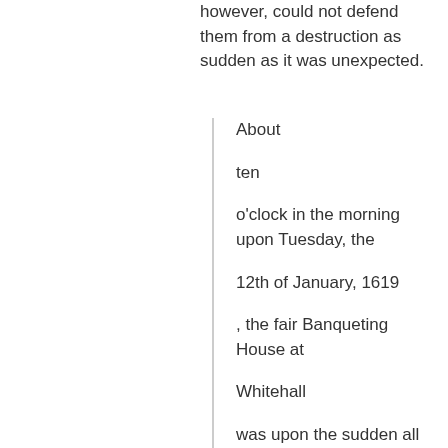however, could not defend them from a destruction as sudden as it was unexpected.
About

ten

o'clock in the morning upon Tuesday, the

12th of January, 1619

, the fair Banqueting House at

Whitehall

was upon the sudden all flaming a-fire, from end to end, and side to side, before it was discerned or descried